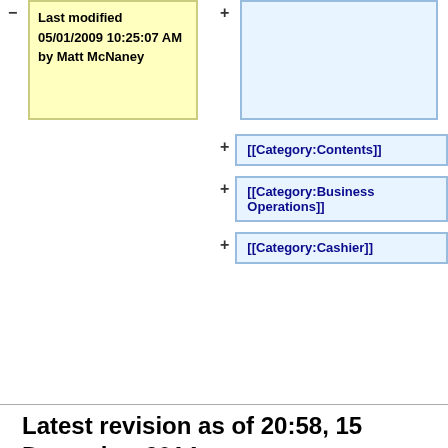Last modified 05/01/2009 10:25:07 AM by Matt McNaney
[[Category:Contents]]
[[Category:Business Operations]]
[[Category:Cashier]]
Latest revision as of 20:58, 15 December 2014
Policy 503.2
Contents [hide]
1 Introduction
2 Scope
3 Definitions
4 Policy and Procedure Statements
4.1 Receipting and Depositing Funds
4.2 Receipting With A Cash Register
4.3 Recipting With University Three-Part Cash